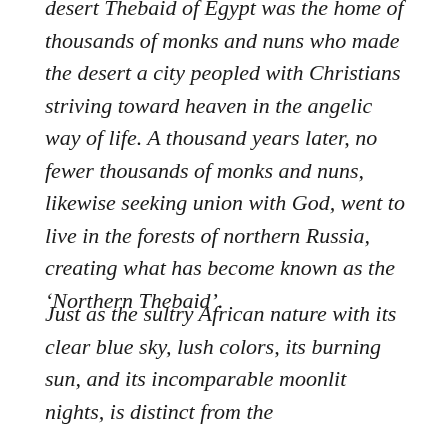desert Thebaid of Egypt was the home of thousands of monks and nuns who made the desert a city peopled with Christians striving toward heaven in the angelic way of life. A thousand years later, no fewer thousands of monks and nuns, likewise seeking union with God, went to live in the forests of northern Russia, creating what has become known as the ‘Northern Thebaid’.
Just as the sultry African nature with its clear blue sky, lush colors, its burning sun, and its incomparable moonlit nights, is distinct from the